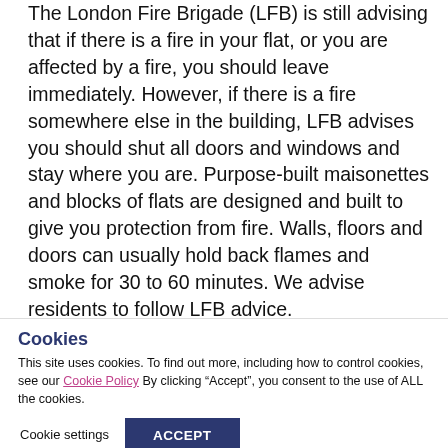The London Fire Brigade (LFB) is still advising that if there is a fire in your flat, or you are affected by a fire, you should leave immediately. However, if there is a fire somewhere else in the building, LFB advises you should shut all doors and windows and stay where you are. Purpose-built maisonettes and blocks of flats are designed and built to give you protection from fire. Walls, floors and doors can usually hold back flames and smoke for 30 to 60 minutes. We advise residents to follow LFB advice.
Cookies
This site uses cookies. To find out more, including how to control cookies, see our Cookie Policy By clicking “Accept”, you consent to the use of ALL the cookies.